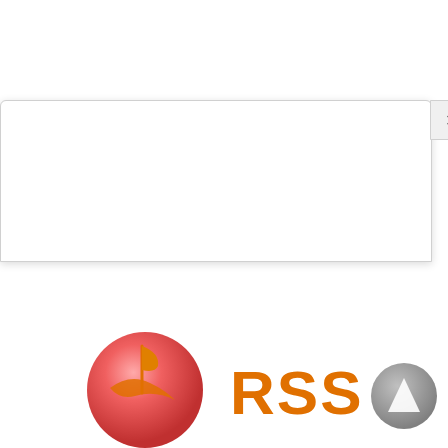[Figure (screenshot): Browser dialog box with close button (x) in upper right, white background, partial webpage UI element]
[Figure (logo): RSS logo consisting of a red/pink sphere with an orange flag icon, orange bold text 'RSS', and a grey circular play/navigation button]